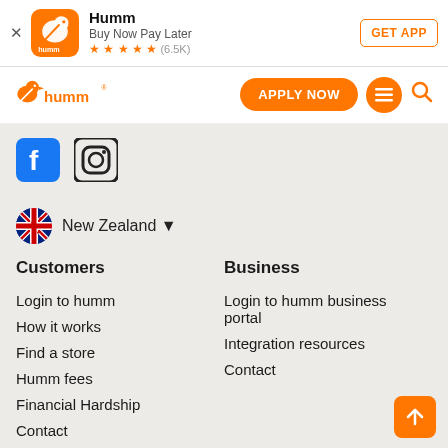[Figure (screenshot): Humm app banner with logo, app name, rating, and GET APP button]
[Figure (logo): Humm navigation bar with logo, APPLY NOW button, menu and search icons]
[Figure (screenshot): Social media icons: Facebook and Instagram on grey background]
[Figure (screenshot): New Zealand flag with dropdown arrow for country selector]
Customers
Business
Login to humm
How it works
Find a store
Humm fees
Financial Hardship
Contact
Login to humm business portal
Integration resources
Contact